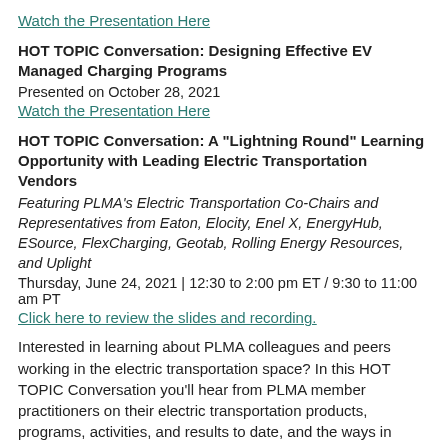Watch the Presentation Here
HOT TOPIC Conversation: Designing Effective EV Managed Charging Programs
Presented on October 28, 2021
Watch the Presentation Here
HOT TOPIC Conversation: A "Lightning Round" Learning Opportunity with Leading Electric Transportation Vendors
Featuring PLMA's Electric Transportation Co-Chairs and Representatives from Eaton, Elocity, Enel X, EnergyHub, ESource, FlexCharging, Geotab, Rolling Energy Resources, and Uplight
Thursday, June 24, 2021 | 12:30 to 2:00 pm ET / 9:30 to 11:00 am PT
Click here to review the slides and recording.
Interested in learning about PLMA colleagues and peers working in the electric transportation space? In this HOT TOPIC Conversation you'll hear from PLMA member practitioners on their electric transportation products, programs, activities, and results to date, and the ways in which they are engaging with their utility partners.